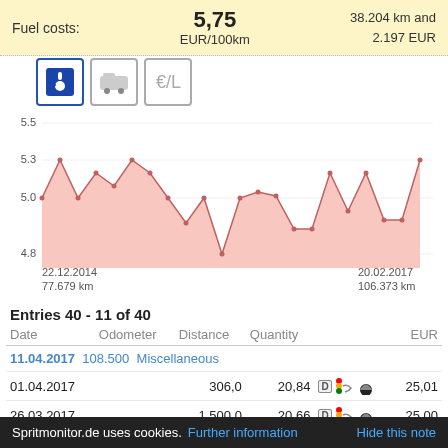| Fuel costs: | 5,75 EUR/100km | 38.204 km and 2.197 EUR |
[Figure (area-chart): Fuel consumption over time]
Entries 40 - 11 of 40
| Date | Odometer | Distance | Quantity |  | EUR |
| --- | --- | --- | --- | --- | --- |
| 11.04.2017 | 108.500 | Miscellaneous |  |  |  |
| 01.04.2017 |  | 306,0 | 20,84 | [icons] | 25,01 |
| 26.03.2017 |  | 1.500,0 | 20,66 | [icons] | 25,00 |
Spritmonitor.de uses cookies. Further information   Hide this note